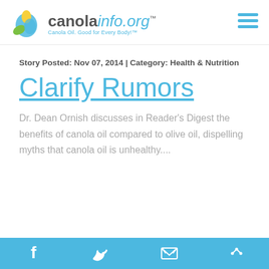canolainfo.org — Canola Oil. Good for Every Body!™
Story Posted: Nov 07, 2014 | Category: Health & Nutrition
Clarify Rumors
Dr. Dean Ornish discusses in Reader's Digest the benefits of canola oil compared to olive oil, dispelling myths that canola oil is unhealthy....
Social media icons: Facebook, Twitter, Email, More